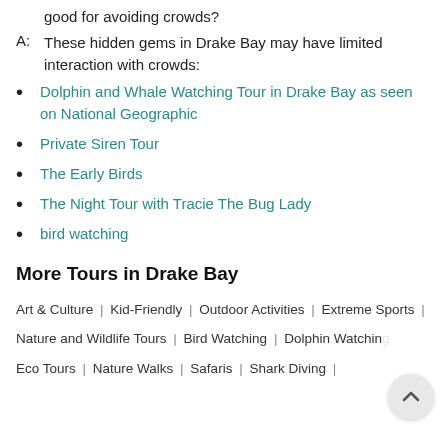good for avoiding crowds?
A: These hidden gems in Drake Bay may have limited interaction with crowds:
Dolphin and Whale Watching Tour in Drake Bay as seen on National Geographic
Private Siren Tour
The Early Birds
The Night Tour with Tracie The Bug Lady
bird watching
More Tours in Drake Bay
Art & Culture | Kid-Friendly | Outdoor Activities | Extreme Sports |
Nature and Wildlife Tours | Bird Watching | Dolphin Watching
Eco Tours | Nature Walks | Safaris | Shark Diving |